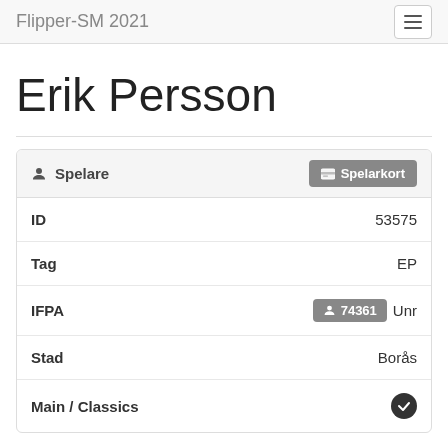Flipper-SM 2021
Erik Persson
| Field | Value |
| --- | --- |
| ID | 53575 |
| Tag | EP |
| IFPA | 74361 Unr |
| Stad | Borås |
| Main / Classics | ✔ |